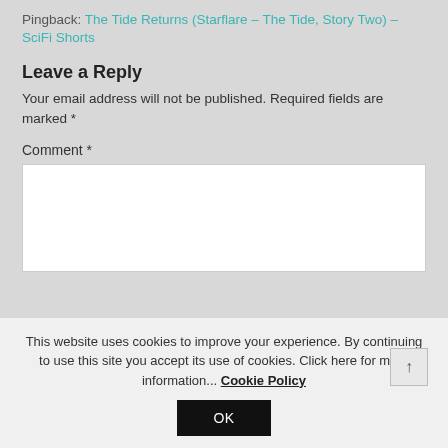Pingback: The Tide Returns (Starflare – The Tide, Story Two) – SciFi Shorts
Leave a Reply
Your email address will not be published. Required fields are marked *
Comment *
This website uses cookies to improve your experience. By continuing to use this site you accept its use of cookies. Click here for more information... Cookie Policy
OK